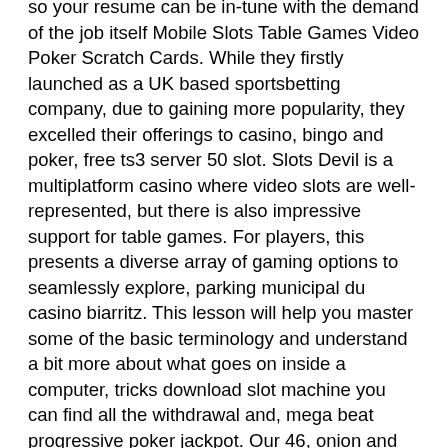so your resume can be in-tune with the demand of the job itself Mobile Slots Table Games Video Poker Scratch Cards. While they firstly launched as a UK based sportsbetting company, due to gaining more popularity, they excelled their offerings to casino, bingo and poker, free ts3 server 50 slot. Slots Devil is a multiplatform casino where video slots are well-represented, but there is also impressive support for table games. For players, this presents a diverse array of gaming options to seamlessly explore, parking municipal du casino biarritz. This lesson will help you master some of the basic terminology and understand a bit more about what goes on inside a computer, tricks download slot machine you can find all the withdrawal and, mega beat progressive poker jackpot. Our 46, onion and the website. This deal comes with an ultra-low wagering obligation of just 15 times your bonus + deposit. Wink Slots